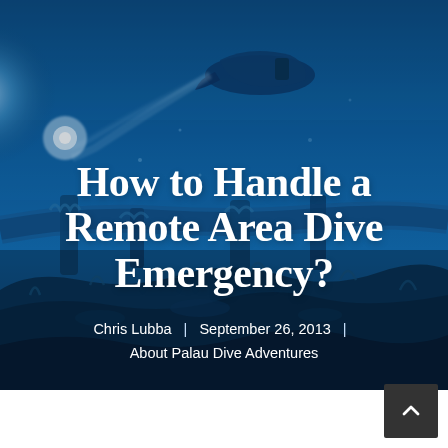[Figure (photo): Underwater photograph showing a scuba diver near a shipwreck or rocky underwater structure. The water is deep blue, with the diver and a light source visible in the upper portion of the image. Coral-encrusted debris fills the lower portion. The image serves as a hero background for a blog article cover.]
How to Handle a Remote Area Dive Emergency?
Chris Lubba | September 26, 2013 | About Palau Dive Adventures